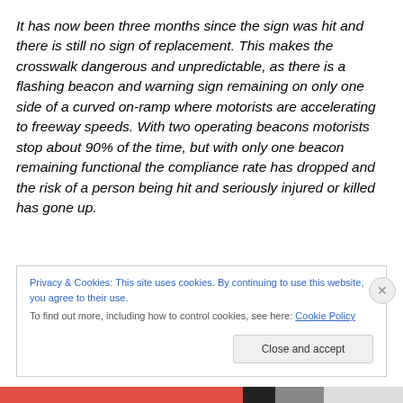It has now been three months since the sign was hit and there is still no sign of replacement. This makes the crosswalk dangerous and unpredictable, as there is a flashing beacon and warning sign remaining on only one side of a curved on-ramp where motorists are accelerating to freeway speeds. With two operating beacons motorists stop about 90% of the time, but with only one beacon remaining functional the compliance rate has dropped and the risk of a person being hit and seriously injured or killed has gone up.
Privacy & Cookies: This site uses cookies. By continuing to use this website, you agree to their use. To find out more, including how to control cookies, see here: Cookie Policy